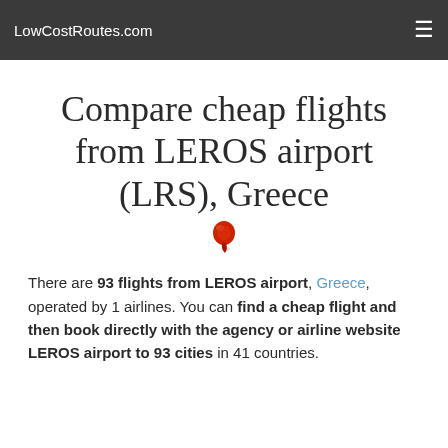LowCostRoutes.com
Compare cheap flights from LEROS airport (LRS), Greece
There are 93 flights from LEROS airport, Greece, operated by 1 airlines. You can find a cheap flight and then book directly with the agency or airline website LEROS airport to 93 cities in 41 countries.